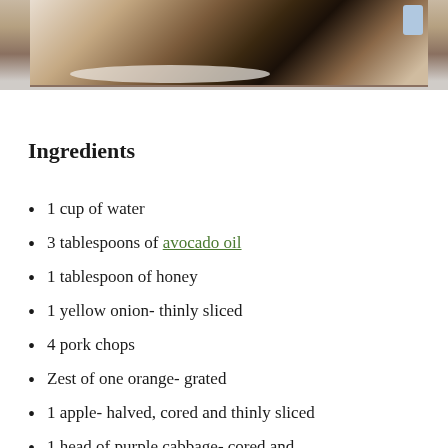[Figure (photo): Partial view of a dish/food on a plate, showing what appears to be pork chops with toppings, cropped at the top of the page.]
Ingredients
1 cup of water
3 tablespoons of avocado oil
1 tablespoon of honey
1 yellow onion- thinly sliced
4 pork chops
Zest of one orange- grated
1 apple- halved, cored and thinly sliced
1 head of purple cabbage- cored and finely shredded